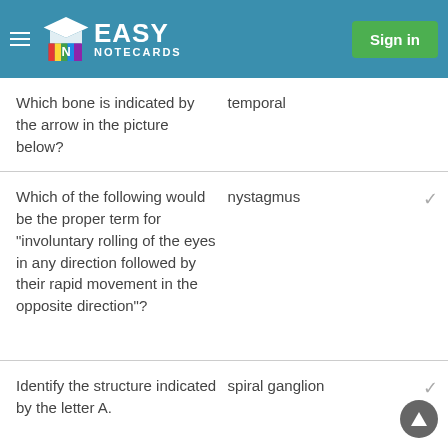Easy Notecards — Sign in
Which bone is indicated by the arrow in the picture below?
Which of the following would be the proper term for "involuntary rolling of the eyes in any direction followed by their rapid movement in the opposite direction"?
Identify the structure indicated by the letter A.
The organ of Corti is